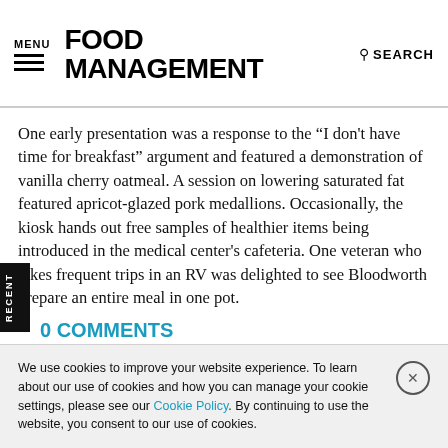MENU | FOOD MANAGEMENT | SEARCH
One early presentation was a response to the “I don't have time for breakfast” argument and featured a demonstration of vanilla cherry oatmeal. A session on lowering saturated fat featured apricot-glazed pork medallions. Occasionally, the kiosk hands out free samples of healthier items being introduced in the medical center's cafeteria. One veteran who takes frequent trips in an RV was delighted to see Bloodworth prepare an entire meal in one pot.
0 COMMENTS
We use cookies to improve your website experience. To learn about our use of cookies and how you can manage your cookie settings, please see our Cookie Policy. By continuing to use the website, you consent to our use of cookies.